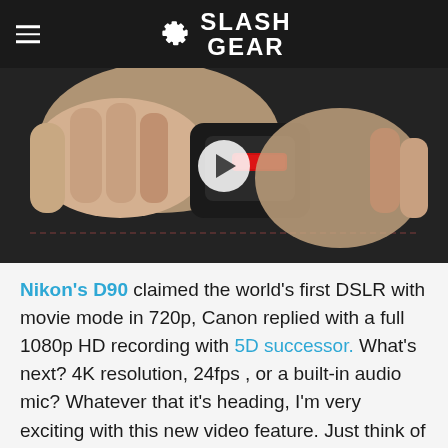SlashGear
[Figure (photo): Close-up video thumbnail of hands holding a camera or device, with a play button overlay]
Nikon's D90 claimed the world's first DSLR with movie mode in 720p, Canon replied with a full 1080p HD recording with 5D successor. What's next? 4K resolution, 24fps , or a built-in audio mic? Whatever that it's heading, I'm very exciting with this new video feature. Just think of the ability to use a high quality tilt-shift, macro, wide angle, fish eye or the supertele lenses to capture video. The possibility is endless! and i can't wait